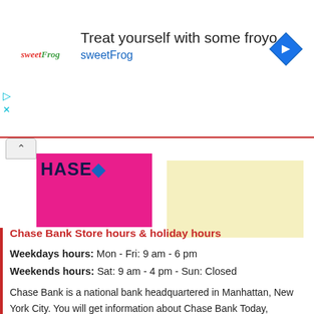[Figure (screenshot): sweetFrog advertisement banner with logo, text 'Treat yourself with some froyo sweetFrog', and a blue diamond navigation arrow icon]
[Figure (logo): Chase Bank logo on magenta/pink background showing 'CHASE' with blue octagon icon]
[Figure (other): Light yellow placeholder advertisement image]
Chase Bank Store hours & holiday hours
Weekdays hours: Mon - Fri: 9 am - 6 pm
Weekends hours: Sat: 9 am - 4 pm - Sun: Closed
Chase Bank is a national bank headquartered in Manhattan, New York City. You will get information about Chase Bank Today, Sunday, What time does Chase Bank Open/ closed. You can also find out the Chase Bank Near me Locations and Holiday hours of Chase Bank.